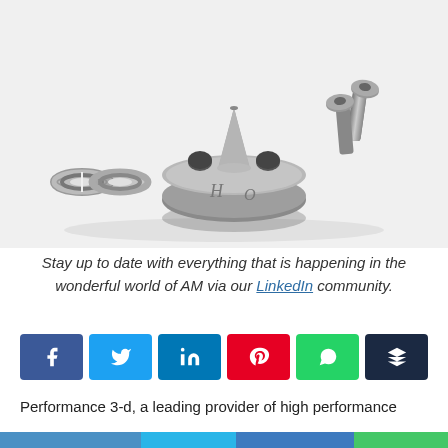[Figure (photo): Metal hardware components on white background: two spring washers on the left, a circular flanged disc with cone point in the center with holes, and two socket head cap screws on the right.]
Stay up to date with everything that is happening in the wonderful world of AM via our LinkedIn community.
[Figure (infographic): Social media sharing buttons: Facebook (blue), Twitter (light blue), LinkedIn (dark blue), Pinterest (red), WhatsApp (green), Buffer (dark navy).]
Performance 3-d, a leading provider of high performance